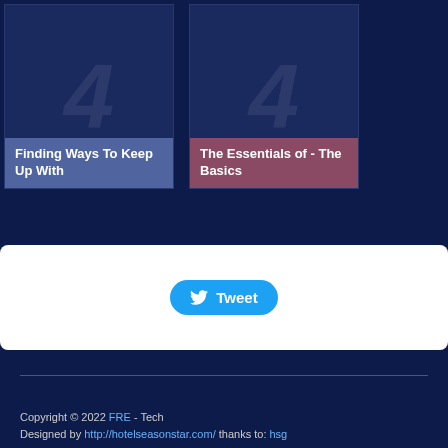[Figure (screenshot): Card with watermark numeral and blue label reading 'Finding Ways To Keep Up With']
[Figure (screenshot): Card with watermark numeral and rose/pink label reading 'The Essentials of - The Basics']
[Figure (screenshot): White box containing a Twitter Tweet button]
Copyright © 2022 FRE - Tech
Designed by http://hotelseasonstar.com/ thanks to: hsg